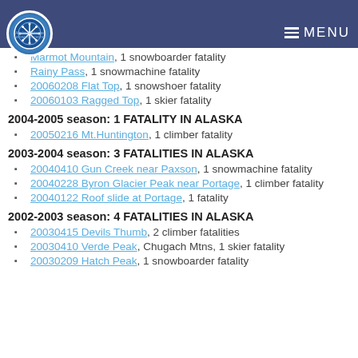2005-2006 season: 4 FATALITIES IN ALASKA
Marmot Mountain, 1 snowboarder fatality
Rainy Pass, 1 snowmachine fatality
20060208 Flat Top, 1 snowshoer fatality
20060103 Ragged Top, 1 skier fatality
2004-2005 season: 1 FATALITY IN ALASKA
20050216 Mt.Huntington, 1 climber fatality
2003-2004 season: 3 FATALITIES IN ALASKA
20040410 Gun Creek near Paxson, 1 snowmachine fatality
20040228 Byron Glacier Peak near Portage, 1 climber fatality
20040122 Roof slide at Portage, 1 fatality
2002-2003 season: 4 FATALITIES IN ALASKA
20030415 Devils Thumb, 2 climber fatalities
20030410 Verde Peak, Chugach Mtns, 1 skier fatality
20030209 Hatch Peak, 1 snowboarder fatality